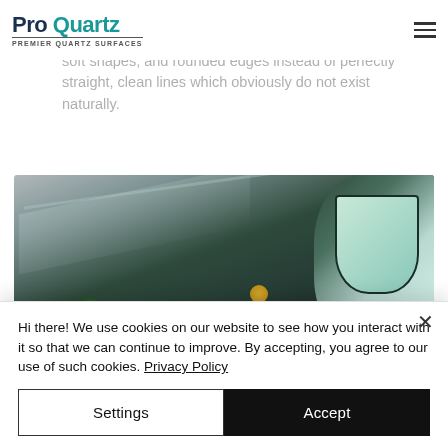Pro Quartz | PREMIER QUARTZ SURFACES
by storm in recent years for this exact intention. Similarly, natural shapes can also be used with round, soft shapes, and rounded edges instead of perfectly straight, clean lines which obviously do not exist naturally.
[Figure (photo): Interior bathroom/kitchen scene showing dark green marble walls, a white countertop, plants, a mirror with rounded top arch, and light streaming in from upper right. Modern, natural-inspired design.]
Hi there! We use cookies on our website to see how you interact with it so that we can continue to improve. By accepting, you agree to our use of such cookies. Privacy Policy
Settings
Accept